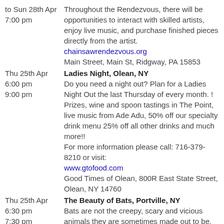to Sun 28th Apr 7:00 pm — Throughout the Rendezvous, there will be opportunities to interact with skilled artists, enjoy live music, and purchase finished pieces directly from the artist. chainsawrendezvous.org Main Street, Main St, Ridgway, PA 15853
Thu 25th Apr 6:00 pm 9:00 pm — Ladies Night, Olean, NY — Do you need a night out? Plan for a Ladies Night Out the last Thursday of every month. ! Prizes, wine and spoon tastings in The Point, live music from Ade Adu, 50% off our specialty drink menu 25% off all other drinks and much more!! For more information please call: 716-379-8210 or visit: www.gtofood.com Good Times of Olean, 800R East State Street, Olean, NY 14760
Thu 25th Apr 6:30 pm 7:30 pm — The Beauty of Bats, Portville, NY — Bats are not the creepy, scary and vicious animals they are sometimes made out to be. Join the Pfeiffer Nature Center for this entertaining and enlightening talk about the world of bats.